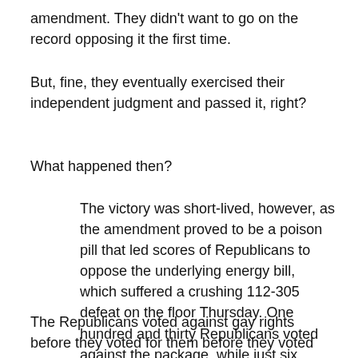amendment. They didn't want to go on the record opposing it the first time.
But, fine, they eventually exercised their independent judgment and passed it, right?
What happened then?
The victory was short-lived, however, as the amendment proved to be a poison pill that led scores of Republicans to oppose the underlying energy bill, which suffered a crushing 112-305 defeat on the floor Thursday. One hundred and thirty Republicans voted against the package, while just six Democrats supported it.
The Republicans voted against gay rights before they voted for them before they voted against them again?